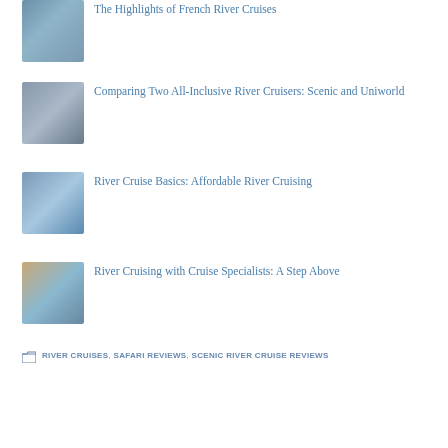The Highlights of French River Cruises
Comparing Two All-Inclusive River Cruisers: Scenic and Uniworld
River Cruise Basics: Affordable River Cruising
River Cruising with Cruise Specialists: A Step Above
RIVER CRUISES, SAFARI REVIEWS, SCENIC RIVER CRUISE REVIEWS